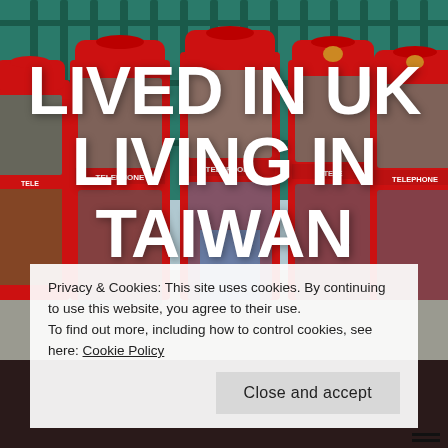[Figure (photo): Photo of multiple red British telephone boxes (TELEPHONE booths) in front of ornate green metal railings/columns. Background shows decorative ironwork architecture.]
LIVED IN UK LIVING IN TAIWAN
Privacy & Cookies: This site uses cookies. By continuing to use this website, you agree to their use.
To find out more, including how to control cookies, see here: Cookie Policy
Close and accept